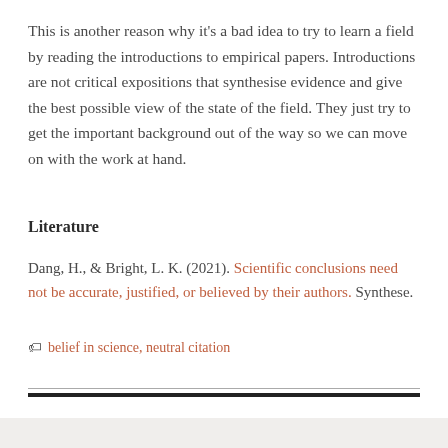This is another reason why it's a bad idea to try to learn a field by reading the introductions to empirical papers. Introductions are not critical expositions that synthesise evidence and give the best possible view of the state of the field. They just try to get the important background out of the way so we can move on with the work at hand.
Literature
Dang, H., & Bright, L. K. (2021). Scientific conclusions need not be accurate, justified, or believed by their authors. Synthese.
🏷 belief in science, neutral citation